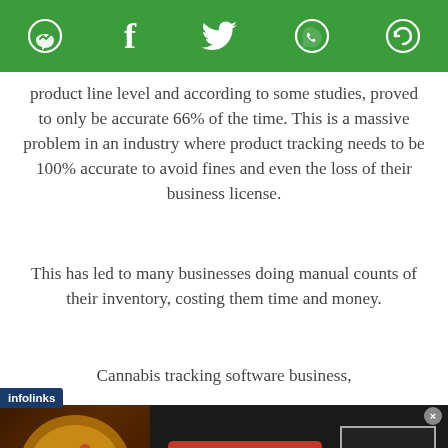[Figure (other): Green social media sharing toolbar with icons: Messenger, Facebook, Twitter, WhatsApp, and a circular arrow/share icon]
product line level and according to some studies, proved to only be accurate 66% of the time. This is a massive problem in an industry where product tracking needs to be 100% accurate to avoid fines and even the loss of their business license.
This has led to many businesses doing manual counts of their inventory, costing them time and money.
Cannabis tracking software business,
[Figure (other): Infolinks advertisement banner for Seamless food delivery showing pizza images on the left, a red Seamless logo button in the center, and an ORDER NOW button on the right with a dark background]